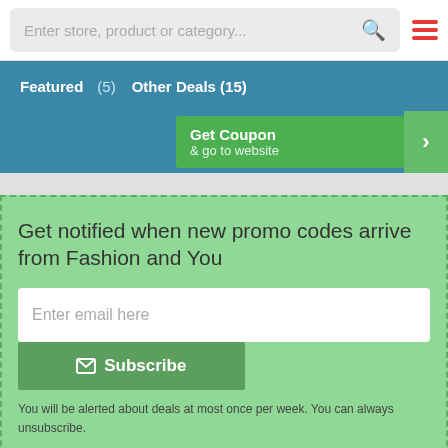[Figure (screenshot): Search bar with placeholder text 'Enter store, product or category...', a red search icon, and a red hamburger menu icon]
Featured   (5)   Other Deals (15)
[Figure (screenshot): Green button area with 'Get Coupon & go to website' and a right arrow]
Get notified when new promo codes arrive from Fashion and You
[Figure (screenshot): Email subscription form with 'Enter email here' input and Subscribe button]
You will be alerted about deals at most once per week. You can always unsubscribe.
Other Deals: Fashion and You